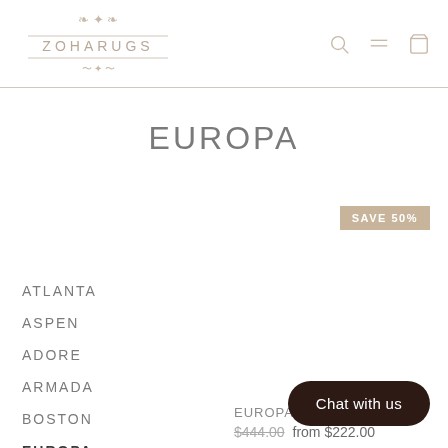[Figure (logo): ZOHARUGS ornate logo with decorative flourishes above and below the brand name, with horizontal lines flanking the text]
EUROPA
[Figure (other): SAVE 50% badge in beige/tan background with white text]
ATLANTA
ASPEN
ADORE
ARMADA
BOSTON
EUROPA
Show more
EUROPA
$444.00 from $222.00
Chat with us